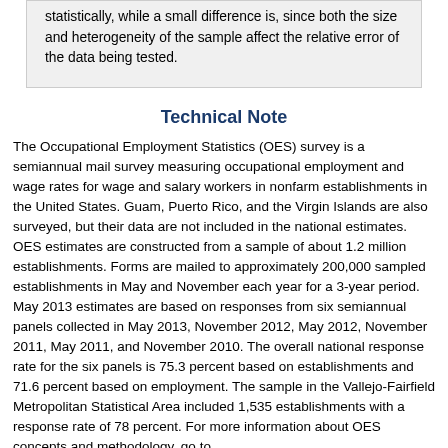statistically, while a small difference is, since both the size and heterogeneity of the sample affect the relative error of the data being tested.
Technical Note
The Occupational Employment Statistics (OES) survey is a semiannual mail survey measuring occupational employment and wage rates for wage and salary workers in nonfarm establishments in the United States. Guam, Puerto Rico, and the Virgin Islands are also surveyed, but their data are not included in the national estimates. OES estimates are constructed from a sample of about 1.2 million establishments. Forms are mailed to approximately 200,000 sampled establishments in May and November each year for a 3-year period. May 2013 estimates are based on responses from six semiannual panels collected in May 2013, November 2012, May 2012, November 2011, May 2011, and November 2010. The overall national response rate for the six panels is 75.3 percent based on establishments and 71.6 percent based on employment. The sample in the Vallejo-Fairfield Metropolitan Statistical Area included 1,535 establishments with a response rate of 78 percent. For more information about OES concepts and methodology, go to www.bls.gov/news_release/ocwage.tn.htm